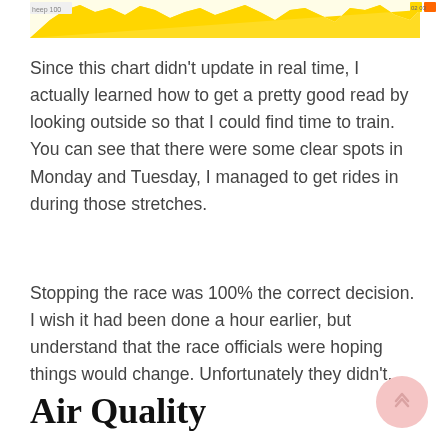[Figure (screenshot): Partial chart screenshot showing yellow/gold waveform data on a white/light background, cropped at top of page with small colored legend indicators on the right side.]
Since this chart didn't update in real time, I actually learned how to get a pretty good read by looking outside so that I could find time to train. You can see that there were some clear spots in Monday and Tuesday, I managed to get rides in during those stretches.
Stopping the race was 100% the correct decision. I wish it had been done a hour earlier, but understand that the race officials were hoping things would change. Unfortunately they didn't.
Air Quality